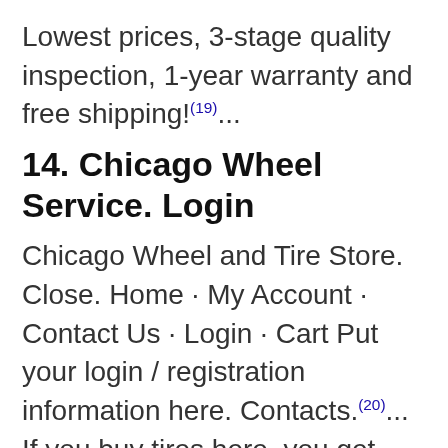Lowest prices, 3-stage quality inspection, 1-year warranty and free shipping!(19)...
14. Chicago Wheel Service. Login
Chicago Wheel and Tire Store. Close. Home · My Account · Contact Us · Login · Cart Put your login / registration information here. Contacts.(20)... If you buy tires here, you get free rotations for the life of the tires Give them a call for the best price match, they beat all the online shops, too.(21)...